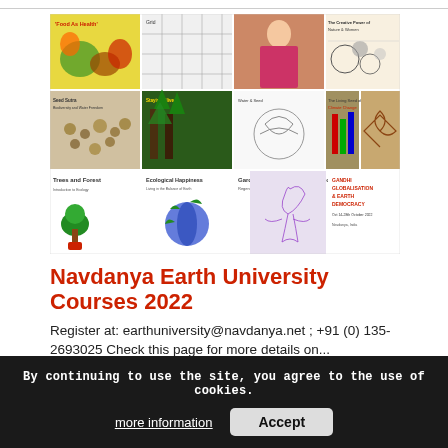[Figure (infographic): A collage of multiple course poster images for Navdanya Earth University 2022 courses, including 'Food As Health', 'Seeds & Water', 'Trees and Forest', 'Ecological Happiness', 'Gardens of Hope and Gardens of Happiness', 'Gandhi Globalisation & Earth Democracy', and others arranged in a grid.]
Navdanya Earth University Courses 2022
Register at: earthuniversity@navdanya.net ; +91 (0) 135-2693025 Check this page for more details on...
By continuing to use the site, you agree to the use of cookies.
more information
Accept